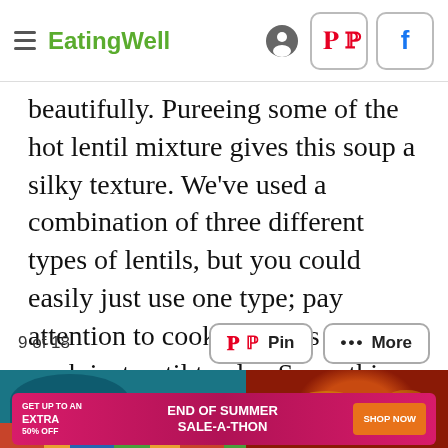EatingWell
beautifully. Pureeing some of the hot lentil mixture gives this soup a silky texture. We've used a combination of three different types of lentils, but you could easily just use one type; pay attention to cooking times and cook just until tender. Serve this with a side salad or a small slice of crusty bread.
9 of 18
[Figure (photo): Photo strip showing a teal/dark blue bowl on the left with colorful patterned textile below, and a bowl of soup with pasta/noodles on the right against orange-red background]
[Figure (infographic): Advertisement banner: GET UP TO AN EXTRA 50% OFF | END OF SUMMER SALE-A-THON | SHOP NOW button in orange]